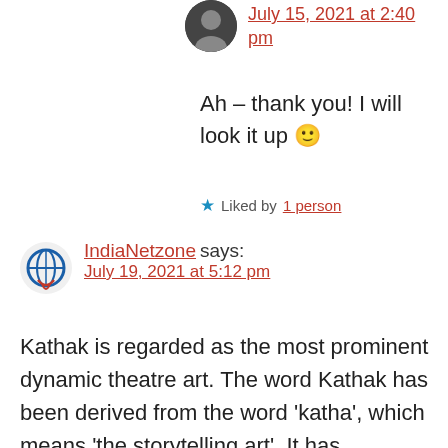July 15, 2021 at 2:40 pm
Ah – thank you! I will look it up 🙂
★ Liked by 1 person
IndiaNetzone says: July 19, 2021 at 5:12 pm
Kathak is regarded as the most prominent dynamic theatre art. The word Kathak has been derived from the word 'katha', which means 'the storytelling art'. It has theatrical representation of themes from Urdu and Persian poetry along with some